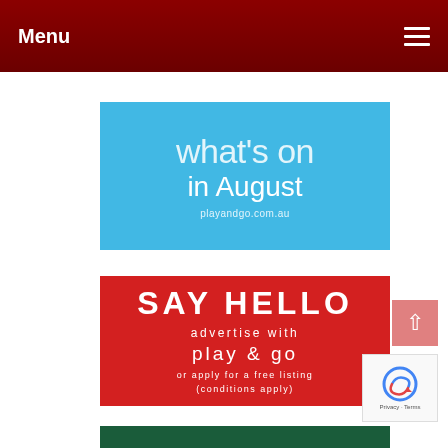Menu
[Figure (illustration): Blue banner with text 'what's on in August' and 'playandgo.com.au']
[Figure (illustration): Red banner with text 'SAY HELLO advertise with play & go or apply for a free listing (conditions apply)']
[Figure (illustration): Dark green banner at bottom (partial)]